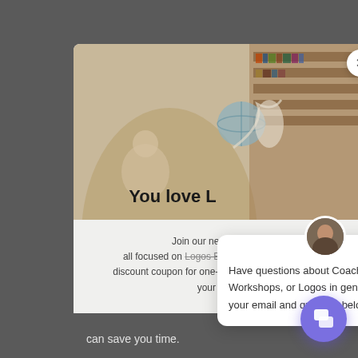[Figure (screenshot): Screenshot of a website with a modal dialog overlay showing a fantasy library illustration with an old scholar, bookshelves, globe, and bird. Text 'You love L' partially visible. Below is newsletter subscription text. A chat popup overlays the right side with text about coaching, group workshops, and Logos.]
You love L
Join our newsletter c... all focused on Logos Bible Software and get a discount coupon for one-on-one Logos coaching in your inbox!
Have questions about Coaching, Group Workshops, or Logos in general? Leave your email and question below.
can save you time.